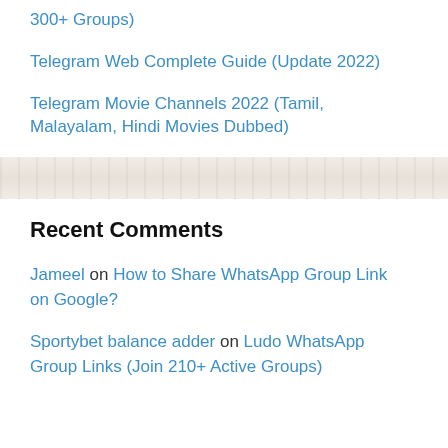300+ Groups)
Telegram Web Complete Guide (Update 2022)
Telegram Movie Channels 2022 (Tamil, Malayalam, Hindi Movies Dubbed)
Recent Comments
Jameel on How to Share WhatsApp Group Link on Google?
Sportybet balance adder on Ludo WhatsApp Group Links (Join 210+ Active Groups)